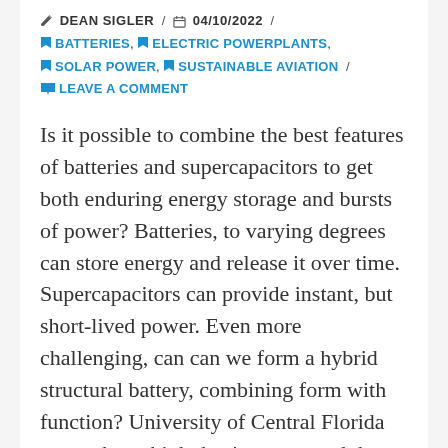✏ DEAN SIGLER / 📅 04/10/2022 / 🔖 BATTERIES, 🔖 ELECTRIC POWERPLANTS, 🔖 SOLAR POWER, 🔖 SUSTAINABLE AVIATION / 💬 LEAVE A COMMENT
Is it possible to combine the best features of batteries and supercapacitors to get both enduring energy storage and bursts of power?  Batteries, to varying degrees can store energy and release it over time. Supercapacitors can provide instant, but short-lived power.  Even more challenging, can can we form a hybrid structural battery, combining form with function?  University of Central Florida researchers think they've answered those questions with a battery-supercapacitor hybrid